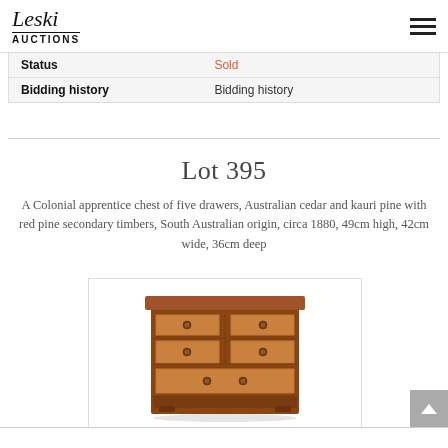Leski Auctions
|  |  |
| --- | --- |
| Status | Sold |
| Bidding history | Bidding history |
Lot 395
A Colonial apprentice chest of five drawers, Australian cedar and kauri pine with red pine secondary timbers, South Australian origin, circa 1880, 49cm high, 42cm wide, 36cm deep
[Figure (photo): A Colonial apprentice chest of five drawers in Australian cedar and kauri pine, showing five drawers with round knobs, South Australian origin circa 1880]